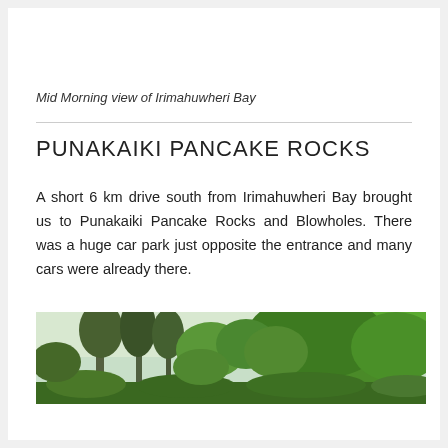Mid Morning view of Irimahuwheri Bay
PUNAKAIKI PANCAKE ROCKS
A short 6 km drive south from Irimahuwheri Bay brought us to Punakaiki Pancake Rocks and Blowholes. There was a huge car park just opposite the entrance and many cars were already there.
[Figure (photo): Landscape photo showing green trees and foliage, likely at or near Punakaiki Pancake Rocks area]